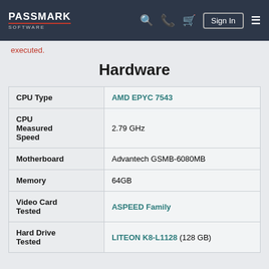PassMark Software — Sign In navigation bar
executed.
Hardware
|  |  |
| --- | --- |
| CPU Type | AMD EPYC 7543 |
| CPU Measured Speed | 2.79 GHz |
| Motherboard | Advantech GSMB-6080MB |
| Memory | 64GB |
| Video Card Tested | ASPEED Family |
| Hard Drive Tested | LITEON K8-L1128 (128 GB) |